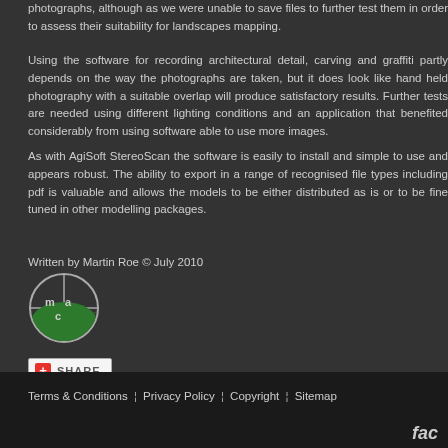photographs, although as we were unable to save files to further test them in order to assess their suitability for landscapes mapping.
Using the software for recording architectural detail, carving and graffiti partly depends on the way the photographs are taken, but it does look like hand held photography with a suitable overlap will produce satisfactory results. Further tests are needed using different lighting conditions and an application that benefited considerably from using software able to use more images.
As with AgiSoft StereoScan the software is easily to install and simple to use and appears robust. The ability to export in a range of recognised file types including pdf is valuable and allows the models to be either distributed as is or to be fine tuned in other modelling packages.
Written by Martin Roe © July 2010
[Figure (logo): MAC (mac) logo - circular logo with crosshairs and green landscape/hill graphic]
[Figure (other): Share button with red plus icon and SHARE text]
Terms & Conditions | Privacy Policy | Copyright | Sitemap